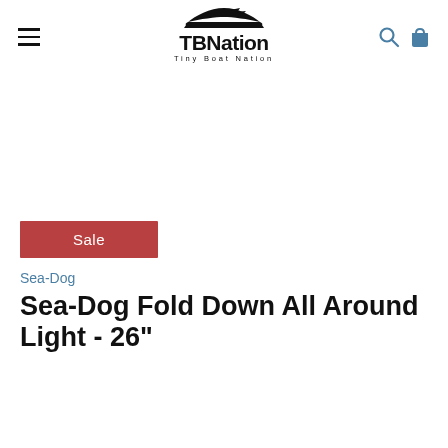TBNation - Tiny Boat Nation
[Figure (logo): TBNation (Tiny Boat Nation) logo with a speedboat silhouette above the text TBNation and tagline Tiny Boat Nation]
[Figure (photo): Product image area (white/blank) with a red Sale badge at the bottom left]
Sea-Dog
Sea-Dog Fold Down All Around Light - 26"